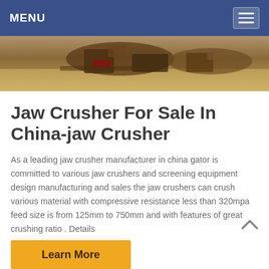MENU
[Figure (photo): Aerial or field photo of heavy industrial/mining machinery (jaw crusher or similar equipment) on a dirt/field terrain, brownish-orange tones.]
Jaw Crusher For Sale In China-jaw Crusher
As a leading jaw crusher manufacturer in china gator is committed to various jaw crushers and screening equipment design manufacturing and sales the jaw crushers can crush various material with compressive resistance less than 320mpa feed size is from 125mm to 750mm and with features of great crushing ratio . Details
Learn More